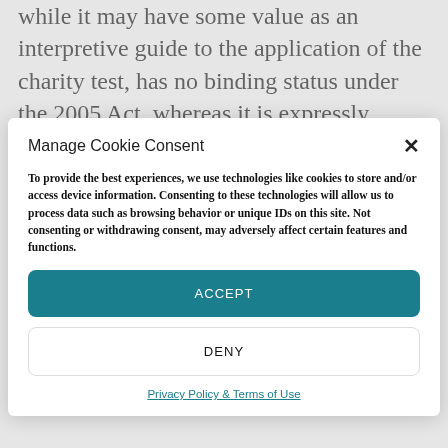while it may have some value as an interpretive guide to the application of the charity test, has no binding status under the 2005 Act, whereas it is expressly preserved by the 2006 Act, though subject to adjustment, as part of the revised English
Manage Cookie Consent
To provide the best experiences, we use technologies like cookies to store and/or access device information. Consenting to these technologies will allow us to process data such as browsing behavior or unique IDs on this site. Not consenting or withdrawing consent, may adversely affect certain features and functions.
ACCEPT
DENY
Privacy Policy & Terms of Use